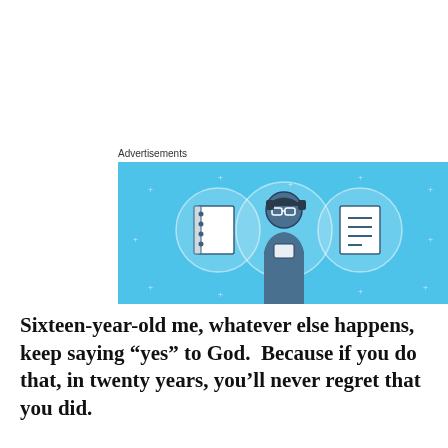Advertisements
[Figure (illustration): Blue advertisement banner with illustrated icons: a notebook, a person wearing glasses looking at a device, and a checklist/notepad, on a light blue background with white star decorations.]
Sixteen-year-old me, whatever else happens, keep saying “yes” to God.  Because if you do that, in twenty years, you’ll never regret that you did.
Privacy & Cookies: This site uses cookies. By continuing to use this website, you agree to their use.
To find out more, including how to control cookies, see here: Cookie Policy
Close and accept